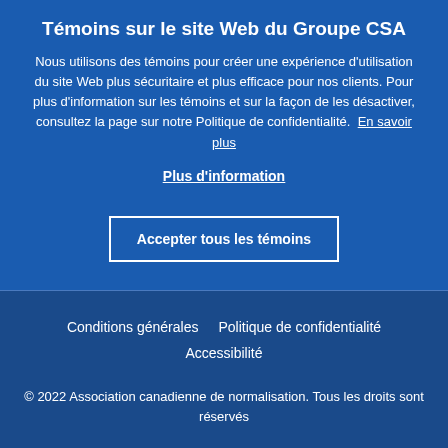Témoins sur le site Web du Groupe CSA
Nous utilisons des témoins pour créer une expérience d'utilisation du site Web plus sécuritaire et plus efficace pour nos clients. Pour plus d'information sur les témoins et sur la façon de les désactiver, consultez la page sur notre Politique de confidentialité. En savoir plus
Plus d'information
Accepter tous les témoins
Conditions générales   Politique de confidentialité
Accessibilité
© 2022 Association canadienne de normalisation. Tous les droits sont réservés